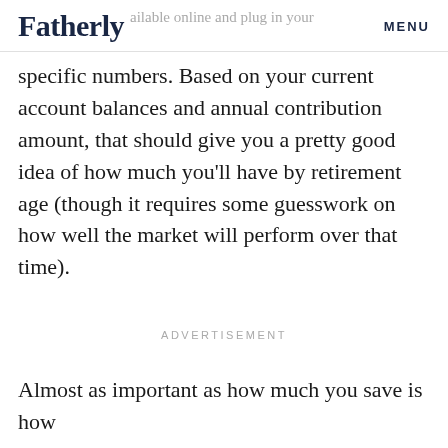Fatherly | available online and plug in your specific numbers. | MENU
specific numbers. Based on your current account balances and annual contribution amount, that should give you a pretty good idea of how much you’ll have by retirement age (though it requires some guesswork on how well the market will perform over that time).
ADVERTISEMENT
Almost as important as how much you save is how